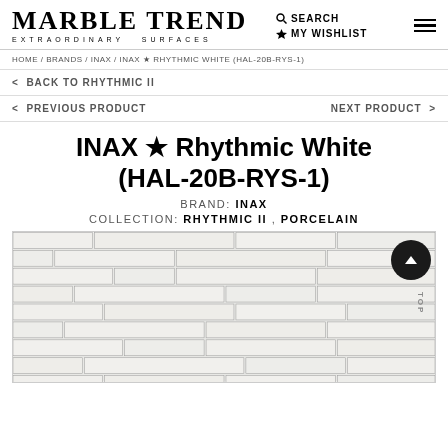MARBLE TREND EXTRAORDINARY SURFACES | SEARCH | MY WISHLIST
HOME / BRANDS / INAX / INAX ★ RHYTHMIC WHITE (HAL-20B-RYS-1)
< BACK TO RHYTHMIC II
< PREVIOUS PRODUCT    NEXT PRODUCT >
INAX ★ Rhythmic White (HAL-20B-RYS-1)
BRAND: INAX
COLLECTION: RHYTHMIC II , PORCELAIN
[Figure (photo): Close-up photo of white porcelain mosaic tile with rhythmic brick-like pattern in staggered rows, light grey grout lines, product HAL-20B-RYS-1]